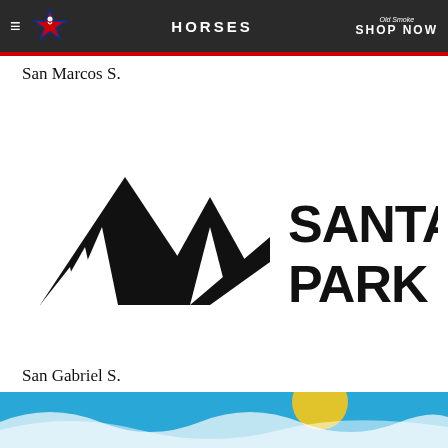HORSES
San Marcos S.
[Figure (logo): Santa Anita Park logo with mountain/wing graphic mark on the left and bold text 'SANTA ANITA PARK' on the right]
San Gabriel S.
[Figure (photo): Bottom portion of a colorful image with blue background, partially visible]